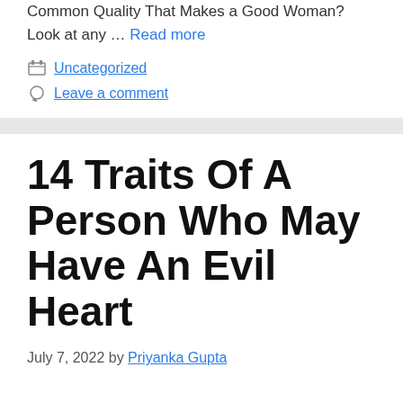Common Quality That Makes a Good Woman?  Look at any … Read more
Uncategorized
Leave a comment
14 Traits Of A Person Who May Have An Evil Heart
July 7, 2022 by Priyanka Gupta